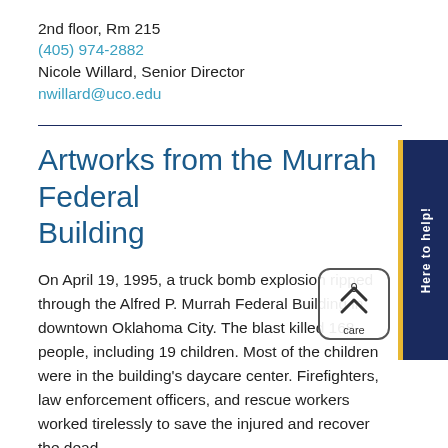2nd floor, Rm 215
(405) 974-2882
Nicole Willard, Senior Director
nwillard@uco.edu
Artworks from the Murrah Federal Building
On April 19, 1995, a truck bomb explosion ripped through the Alfred P. Murrah Federal Building in downtown Oklahoma City. The blast killed 168 people, including 19 children. Most of the children were in the building's daycare center. Firefighters, law enforcement officers, and rescue workers worked tirelessly to save the injured and recover the dead.
Personal belongings and government property were also recovered, including works of art that were purchased or